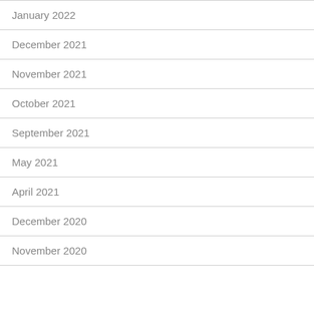January 2022
December 2021
November 2021
October 2021
September 2021
May 2021
April 2021
December 2020
November 2020